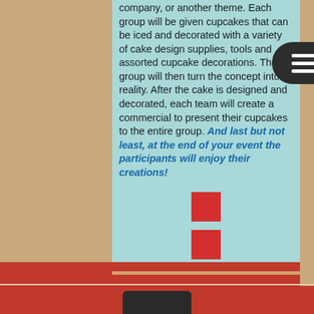company, or another theme. Each group will be given cupcakes that can be iced and decorated with a variety of cake design supplies, tools and assorted cupcake decorations. The group will then turn the concept into reality. After the cake is designed and decorated, each team will create a commercial to present their cupcakes to the entire group. And last but not least, at the end of your event the participants will enjoy their creations!
[Figure (illustration): Two red squares stacked vertically, centered, on teal background]
© Copyright 2011-2015 Little Devil Cupcakery ~ All Rights Reserved

Photo Courtesy of Carole Murray Photography